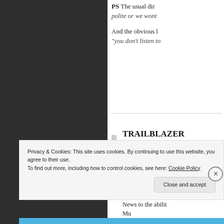PS The usual dir... polite or we wont... And the obvious l... "you don't listen to...
TRAILBLAZER
MARCH 10, 2013
@ Roger Kemble Nanaimo's next ci... over a year away:
The electioneerin... with regular rema... News to the abilit... Mu...
Privacy & Cookies: This site uses cookies. By continuing to use this website, you agree to their use.
To find out more, including how to control cookies, see here: Cookie Policy
Close and accept